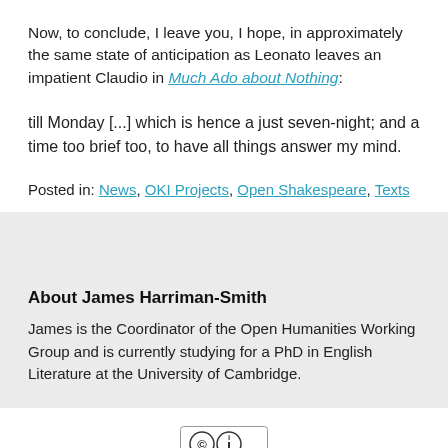Now, to conclude, I leave you, I hope, in approximately the same state of anticipation as Leonato leaves an impatient Claudio in Much Ado about Nothing:
till Monday [...] which is hence a just seven-night; and a time too brief too, to have all things answer my mind.
Posted in: News, OKI Projects, Open Shakespeare, Texts
About James Harriman-Smith
James is the Coordinator of the Open Humanities Working Group and is currently studying for a PhD in English Literature at the University of Cambridge.
[Figure (logo): Creative Commons BY license badge]